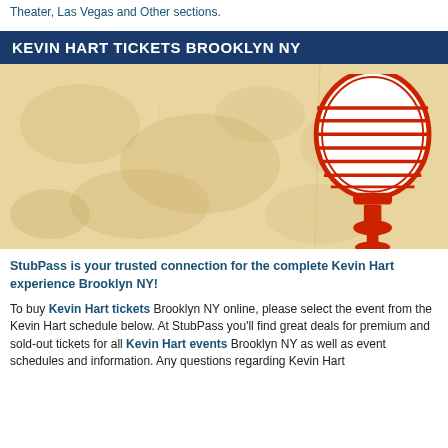Theater, Las Vegas and Other sections.
KEVIN HART TICKETS BROOKLYN NY
[Figure (illustration): Banner image with a vintage parchment/cream textured background and a large red illustrated retro microphone on the right side.]
StubPass is your trusted connection for the complete Kevin Hart experience Brooklyn NY!
To buy Kevin Hart tickets Brooklyn NY online, please select the event from the Kevin Hart schedule below. At StubPass you'll find great deals for premium and sold-out tickets for all Kevin Hart events Brooklyn NY as well as event schedules and information. Any questions regarding Kevin Hart